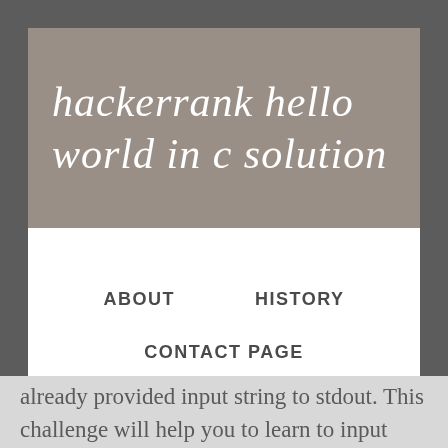hackerrank hello world in c solution
ABOUT    HISTORY
CONTACT PAGE
already provided input string to stdout. This challenge will help you to learn to input some data and then output some data. We are going to solve HackerRank “30 Days of Code” programing problem day 0 hello world